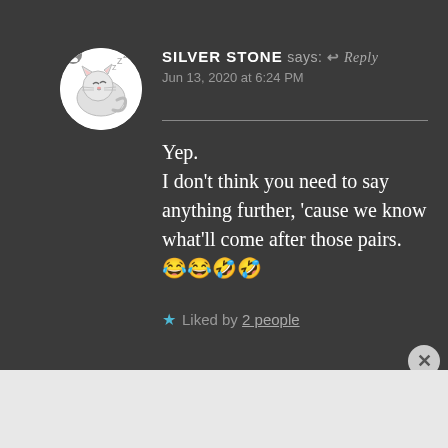[Figure (illustration): Circular avatar of a sleeping cartoon cat with zzz symbols, white circle background with small user icon badge]
SILVER STONE says: ↩ Reply
Jun 13, 2020 at 6:24 PM
Yep.
I don't think you need to say anything further, 'cause we know what'll come after those pairs. 😂😂🤣🤣
★ Liked by 2 people
Advertisements
[Figure (screenshot): Dark navy advertisement banner: 'Your site. Built by us. Built for you.' with 'Built By' WordPress logo on the right]